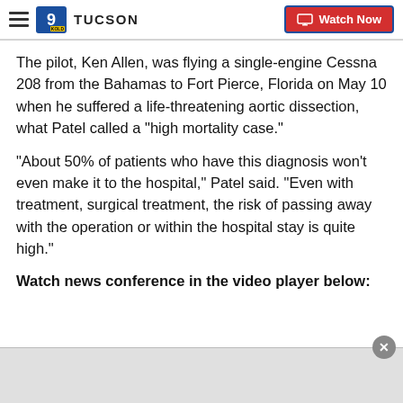9 TUCSON | Watch Now
The pilot, Ken Allen, was flying a single-engine Cessna 208 from the Bahamas to Fort Pierce, Florida on May 10 when he suffered a life-threatening aortic dissection, what Patel called a "high mortality case."
"About 50% of patients who have this diagnosis won't even make it to the hospital," Patel said. "Even with treatment, surgical treatment, the risk of passing away with the operation or within the hospital stay is quite high."
Watch news conference in the video player below:
[Figure (other): Video player placeholder area at the bottom of the page]